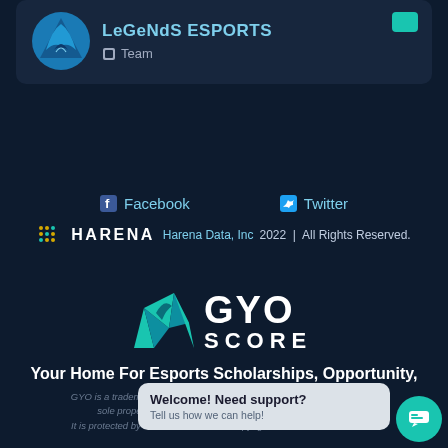[Figure (logo): LeGeNdS ESPORTS team card with mountain/dragon logo, teal button in corner]
LeGeNdS ESPORTS
Team
Facebook
Twitter
[Figure (logo): Harena logo with dotted icon and bold HARENA text]
Harena Data, Inc 2022  |  All Rights Reserved.
[Figure (logo): GYO SCORE logo with teal mountain/dragon icon and bold white GYO SCORE text]
Your Home For Esports Scholarships, Opportunity, and Community
Welcome! Need support?
Tell us how we can help!
GYO is a trademark of Harena Data Inc. All content on this website is the sole property of Harena Data Inc unless otherwise specified. It is protected by US and international copyright. Harena Data retains the